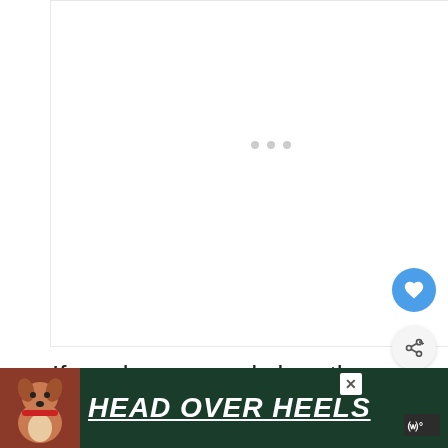[Figure (screenshot): Large white content area with three grey loading dots in the center, representing an ad or image placeholder loading on a webpage]
[Figure (other): Blue circular heart/save button on the right side]
[Figure (other): Grey circular share button on the right side with share icon]
If you love a good slaw, then have we got a side dish for you! Coleslaw is a great co
[Figure (infographic): Green advertisement banner at bottom with a dog (boxer/pitbull) image, bold italic underlined white text 'HEAD OVER HEELS', a close X button, and a logo on the right]